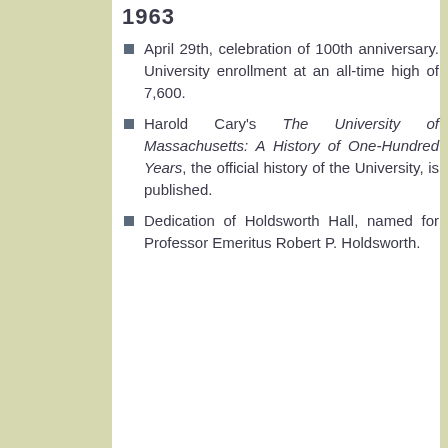1963
April 29th, celebration of 100th anniversary. University enrollment at an all-time high of 7,600.
Harold Cary's The University of Massachusetts: A History of One-Hundred Years, the official history of the University, is published.
Dedication of Holdsworth Hall, named for Professor Emeritus Robert P. Holdsworth.